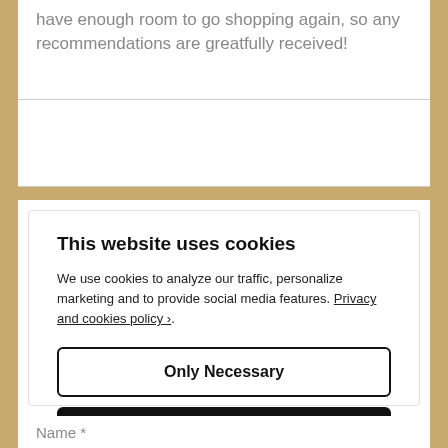have enough room to go shopping again, so any recommendations are greatfully received!
This website uses cookies
We use cookies to analyze our traffic, personalize marketing and to provide social media features. Privacy and cookies policy ›.
Only Necessary
Allow All Cookies
Configure Settings ›
Name *